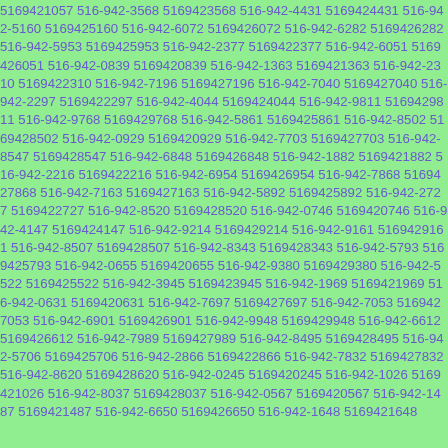5169421057 516-942-3568 5169423568 516-942-4431 5169424431 516-942-5160 5169425160 516-942-6072 5169426072 516-942-6282 5169426282 516-942-5953 5169425953 516-942-2377 5169422377 516-942-6051 5169426051 516-942-0839 5169420839 516-942-1363 5169421363 516-942-2310 5169422310 516-942-7196 5169427196 516-942-7040 5169427040 516-942-2297 5169422297 516-942-4044 5169424044 516-942-9811 5169429811 516-942-9768 5169429768 516-942-5861 5169425861 516-942-8502 5169428502 516-942-0929 5169420929 516-942-7703 5169427703 516-942-8547 5169428547 516-942-6848 5169426848 516-942-1882 5169421882 516-942-2216 5169422216 516-942-6954 5169426954 516-942-7868 5169427868 516-942-7163 5169427163 516-942-5892 5169425892 516-942-2727 5169422727 516-942-8520 5169428520 516-942-0746 5169420746 516-942-4147 5169424147 516-942-9214 5169429214 516-942-9161 5169429161 516-942-8507 5169428507 516-942-8343 5169428343 516-942-5793 5169425793 516-942-0655 5169420655 516-942-9380 5169429380 516-942-5522 5169425522 516-942-3945 5169423945 516-942-1969 5169421969 516-942-0631 5169420631 516-942-7697 5169427697 516-942-7053 5169427053 516-942-6901 5169426901 516-942-9948 5169429948 516-942-6612 5169426612 516-942-7989 5169427989 516-942-8495 5169428495 516-942-5706 5169425706 516-942-2866 5169422866 516-942-7832 5169427832 516-942-8620 5169428620 516-942-0245 5169420245 516-942-1026 5169421026 516-942-8037 5169428037 516-942-0567 5169420567 516-942-1487 5169421487 516-942-6650 5169426650 516-942-1648 5169421648